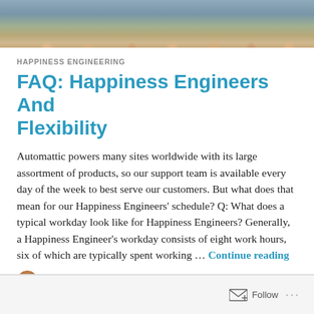[Figure (photo): Group photo of Automattic/Happiness Engineering team members outdoors]
HAPPINESS ENGINEERING
FAQ: Happiness Engineers And Flexibility
Automattic powers many sites worldwide with its large assortment of products, so our support team is available every day of the week to best serve our customers. But what does that mean for our Happiness Engineers' schedule? Q: What does a typical workday look like for Happiness Engineers? Generally, a Happiness Engineer's workday consists of eight work hours, six of which are typically spent working … Continue reading
KATERYNA / MARCH 28, 2022 / 3 COMMENTS
Follow